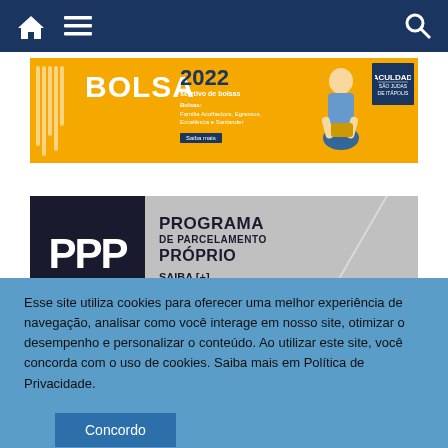Navigation bar with home, menu, and search icons
[Figure (illustration): BOLSA 2022 - Seletivo de bolsas banner. Yellow background with text 'BOLSA 2022 seletivo de bolsas'. Bolsas: Família Acolhedora, Egressos, Excelência e Santander. Saiba mais button. Image of a student sitting cross-legged with a box. University logo top right.]
[Figure (illustration): PPP Programa de Parcelamento Próprio banner. Gray background. Bold 'PPP' letters on dark background. Text: PROGRAMA DE PARCELAMENTO PRÓPRIO. SAIBA [+] Clique Aqui.]
Esse site utiliza cookies para oferecer uma melhor experiência de navegação, analisar como você interage em nosso site, otimizar o desempenho e personalizar o conteúdo. Ao utilizar este site, você concorda com o uso de cookies. Saiba mais em Política de Privacidade.
Concordo